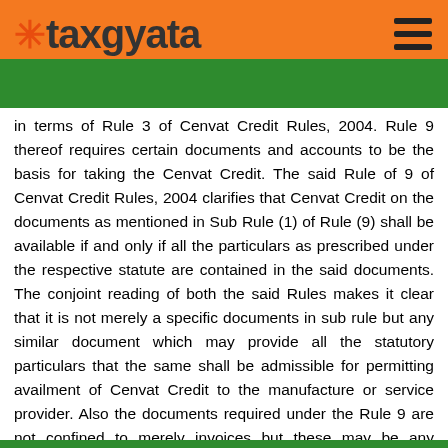taxgyata
in terms of Rule 3 of Cenvat Credit Rules, 2004. Rule 9 thereof requires certain documents and accounts to be the basis for taking the Cenvat Credit. The said Rule of 9 of Cenvat Credit Rules, 2004 clarifies that Cenvat Credit on the documents as mentioned in Sub Rule (1) of Rule (9) shall be available if and only if all the particulars as prescribed under the respective statute are contained in the said documents. The conjoint reading of both the said Rules makes it clear that it is not merely a specific documents in sub rule but any similar document which may provide all the statutory particulars that the same shall be admissible for permitting availment of Cenvat Credit to the manufacture or service provider. Also the documents required under the Rule 9 are not confined to merely invoices but these may be any documents, like bill or challan as issued in terms of Rule 4 (2) A of the Service Tax Rules etc. This particular Rule specifies the amount of information as is required in a particular documents for availment of Cenvat Credit. Thus any documents as required under Rule 4(2)A can be the documents under Rule 9 of Cenvat Credit Rules for